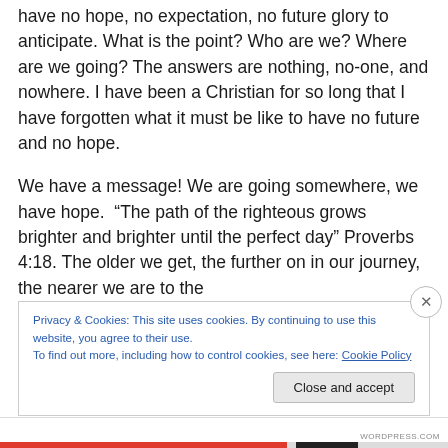have no hope, no expectation, no future glory to anticipate. What is the point? Who are we? Where are we going? The answers are nothing, no-one, and nowhere. I have been a Christian for so long that I have forgotten what it must be like to have no future and no hope.
We have a message! We are going somewhere, we have hope.  “The path of the righteous grows brighter and brighter until the perfect day” Proverbs 4:18. The older we get, the further on in our journey, the nearer we are to the
Privacy & Cookies: This site uses cookies. By continuing to use this website, you agree to their use.
To find out more, including how to control cookies, see here: Cookie Policy
Close and accept